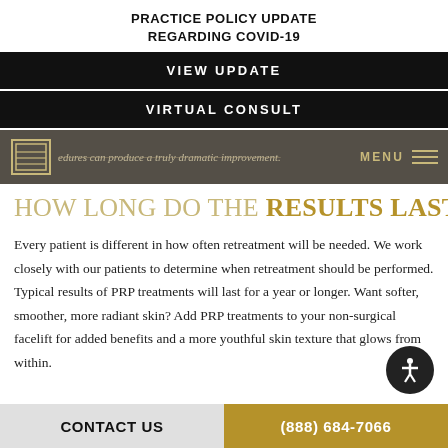PRACTICE POLICY UPDATE
REGARDING COVID-19
VIEW UPDATE
VIRTUAL CONSULT
edures can produce a truly dramatic improvement.  MENU
HOW LONG DO THE RESULTS LAST?
Every patient is different in how often retreatment will be needed. We work closely with our patients to determine when retreatment should be performed. Typical results of PRP treatments will last for a year or longer. Want softer, smoother, more radiant skin? Add PRP treatments to your non-surgical facelift for added benefits and a more youthful skin texture that glows from within.
CONTACT US | (888) 684-7066